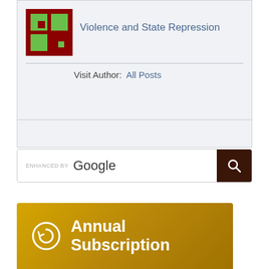Violence and State Repression
Visit Author:  All Posts
[Figure (screenshot): Google enhanced search bar with dark brown search button]
[Figure (infographic): Annual Subscription banner with clock/refresh icon on golden-yellow gradient background]